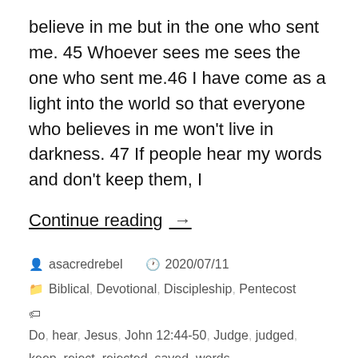believe in me but in the one who sent me. 45 Whoever sees me sees the one who sent me.46 I have come as a light into the world so that everyone who believes in me won't live in darkness. 47 If people hear my words and don't keep them, I
Continue reading →
asacredrebel  2020/07/11
Biblical, Devotional, Discipleship, Pentecost
Do, hear, Jesus, John 12:44-50, Judge, judged, keep, reject, rejected, saved, words
Leave a comment